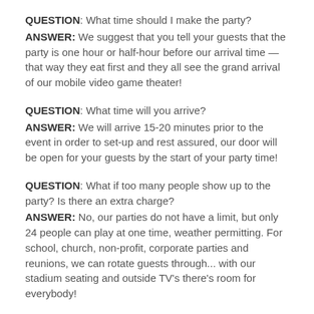QUESTION: What time should I make the party? ANSWER: We suggest that you tell your guests that the party is one hour or half-hour before our arrival time — that way they eat first and they all see the grand arrival of our mobile video game theater!
QUESTION: What time will you arrive? ANSWER: We will arrive 15-20 minutes prior to the event in order to set-up and rest assured, our door will be open for your guests by the start of your party time!
QUESTION: What if too many people show up to the party? Is there an extra charge? ANSWER: No, our parties do not have a limit, but only 24 people can play at one time, weather permitting. For school, church, non-profit, corporate parties and reunions, we can rotate guests through... with our stadium seating and outside TV's there's room for everybody!
QUESTION: ...